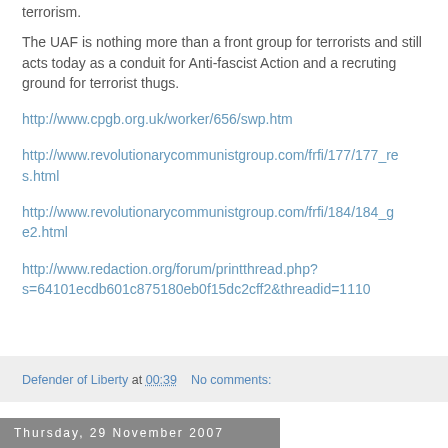terrorism.
The UAF is nothing more than a front group for terrorists and still acts today as a conduit for Anti-fascist Action and a recruting ground for terrorist thugs.
http://www.cpgb.org.uk/worker/656/swp.htm
http://www.revolutionarycommunistgroup.com/frfi/177/177_res.html
http://www.revolutionarycommunistgroup.com/frfi/184/184_ge2.html
http://www.redaction.org/forum/printthread.php?s=64101ecdb601c875180eb0f15dc2cff2&threadid=1110
Defender of Liberty at 00:39   No comments:
Thursday, 29 November 2007